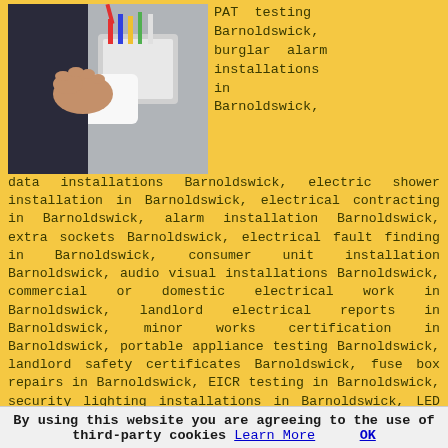[Figure (photo): Close-up photo of a person's hand holding a white electrical socket/plug near a wall outlet with exposed wiring]
PAT testing Barnoldswick, burglar alarm installations in Barnoldswick, data installations Barnoldswick, electric shower installation in Barnoldswick, electrical contracting in Barnoldswick, alarm installation Barnoldswick, extra sockets Barnoldswick, electrical fault finding in Barnoldswick, consumer unit installation Barnoldswick, audio visual installations Barnoldswick, commercial or domestic electrical work in Barnoldswick, landlord electrical reports in Barnoldswick, minor works certification in Barnoldswick, portable appliance testing Barnoldswick, landlord safety certificates Barnoldswick, fuse box repairs in Barnoldswick, EICR testing in Barnoldswick, security lighting installations in Barnoldswick, LED lighting systems Barnoldswick, electrical maintenance in Barnoldswick, automatic doors Barnoldswick, property extension electrics in Barnoldswick, domestic appliance installation Barnoldswick or other electrical work in Barnoldswick, most Quotatis electricians should be able to help you.
Simply post your job on Quotatis and you will be contacted by local Barnoldswick electricians who can help you.
By using this website you are agreeing to the use of third-party cookies Learn More  OK